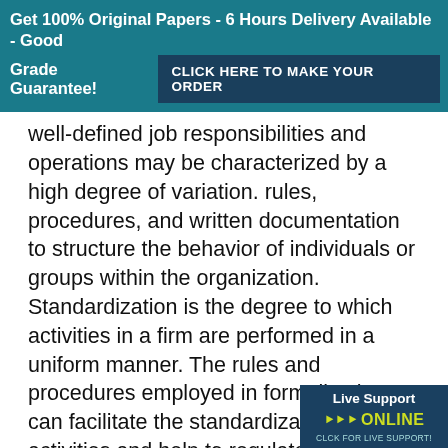Get 100% Original Papers - 6 Hours Delivery Available - Good Grade Guarantee! CLICK HERE TO MAKE YOUR ORDER
well-defined job responsibilities and operations may be characterized by a high degree of variation. rules, procedures, and written documentation to structure the behavior of individuals or groups within the organization. Standardization is the degree to which activities in a firm are performed in a uniform manner. The rules and procedures employed in formalization can facilitate the standardization of firm activities and help to regulate employee behavior by providing clear expectations of behavior and decision-making criteria. Formalization can substitute for s degree of managerial oversight,